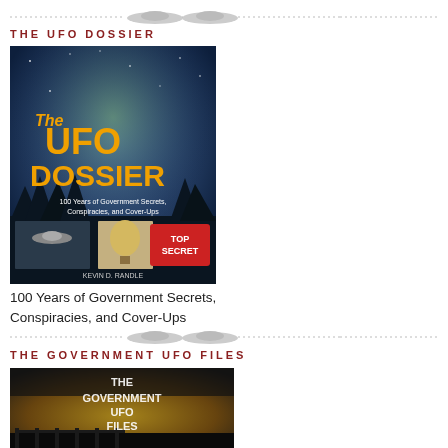[Figure (illustration): Decorative UFO divider with dotted lines and flying saucer silhouettes]
THE UFO DOSSIER
[Figure (photo): Book cover for The UFO Dossier: 100 Years of Government Secrets, Conspiracies, and Cover-Ups, showing UFO imagery with TOP SECRET stamp]
100 Years of Government Secrets, Conspiracies, and Cover-Ups
[Figure (illustration): Decorative UFO divider with dotted lines and flying saucer silhouettes]
THE GOVERNMENT UFO FILES
[Figure (photo): Book cover for The Government UFO Files showing yellow/dark dramatic sky with white glowing title text]